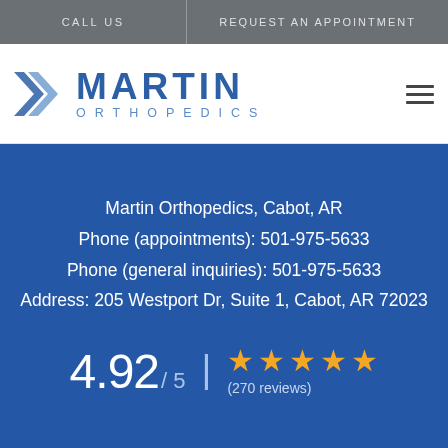CALL US | REQUEST AN APPOINTMENT
[Figure (logo): Martin Orthopedics logo with blue chevron arrows and text MARTIN ORTHOPEDICS]
Martin Orthopedics, Cabot, AR
Phone (appointments): 501-975-5633
Phone (general inquiries): 501-975-5633
Address: 205 Westport Dr, Suite 1, Cabot, AR 72023
4.92 / 5  ★★★★★  (270 reviews)